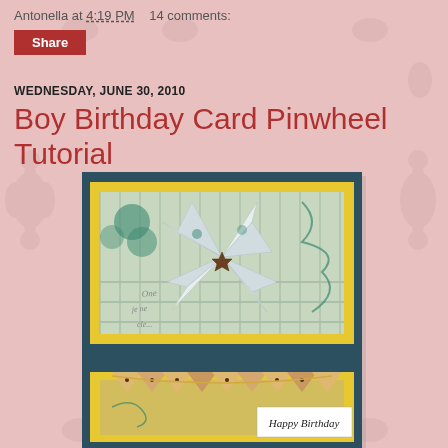Antonella at 4:19 PM    14 comments:
Share
WEDNESDAY, JUNE 30, 2010
Boy Birthday Card Pinwheel Tutorial
[Figure (photo): A handmade birthday card featuring a paper pinwheel decoration on teal/navy background with yellow matting and decorative patterned paper. The lower portion shows triangular paper elements and a 'Happy Birthday' label.]